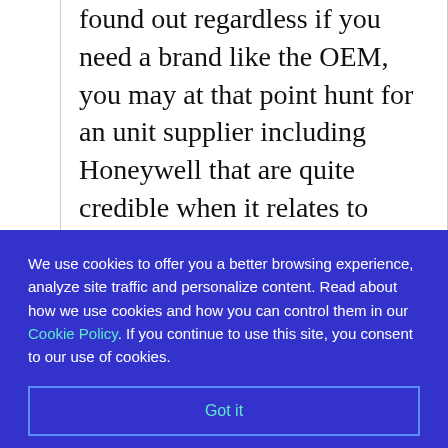found out regardless if you need a brand like the OEM, you may at that point hunt for an unit supplier including Honeywell that are quite credible when it relates to creating air purifiers. In add-on to being a leading manufacturer of air purifiers,
We use cookies to offer you a better browsing experience, analyze site traffic and personalize content. Read about how we use cookies and how you can control them in our Cookie Policy. If you continue to use this site, you consent to our use of cookies.
Got it